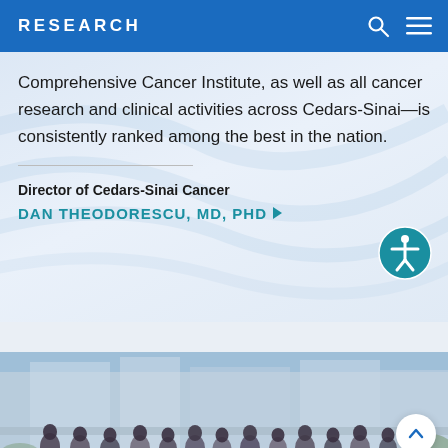RESEARCH
Comprehensive Cancer Institute, as well as all cancer research and clinical activities across Cedars-Sinai—is consistently ranked among the best in the nation.
Director of Cedars-Sinai Cancer
DAN THEODORESCU, MD, PHD ▶
[Figure (photo): Group photo of medical professionals and researchers standing outdoors on steps or a terrace at Cedars-Sinai]